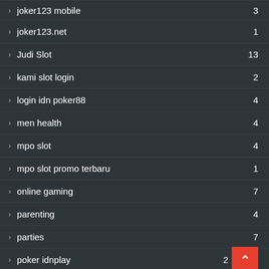joker123 mobile  3
joker123.net  1
Judi Slot  13
kami slot login  2
login idn poker88  4
men health  4
mpo slot  4
mpo slot promo terbaru  1
online gaming  7
parenting  4
parties  7
poker idnplay  2
Politics::Commentary
Recreation & Sports::Martial Arts  6